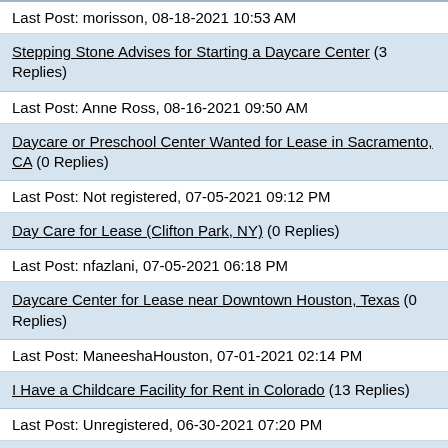Stepping Stone Advises for Starting a Daycare Center (3 Replies)
Last Post: morisson, 08-18-2021 10:53 AM
Stepping Stone Advises for Starting a Daycare Center (3 Replies)
Last Post: Anne Ross, 08-16-2021 09:50 AM
Daycare or Preschool Center Wanted for Lease in Sacramento, CA (0 Replies)
Last Post: Not registered, 07-05-2021 09:12 PM
Day Care for Lease (Clifton Park, NY) (0 Replies)
Last Post: nfazlani, 07-05-2021 06:18 PM
Daycare Center for Lease near Downtown Houston, Texas (0 Replies)
Last Post: ManeeshaHouston, 07-01-2021 02:14 PM
I Have a Childcare Facility for Rent in Colorado (13 Replies)
Last Post: Unregistered, 06-30-2021 07:20 PM
Looking to buy/lease/rent Boston, MA (0 Replies)
Last Post: Unregistered, 06-27-2021 09:36 AM
Looking for Daycare Space to Rent/Lease in San Francisco (0 Replies)
Last Post: ELMO, 06-20-2021 12:00 PM
Looking For Space in Li to Open a Daycare Center (0 Replies)